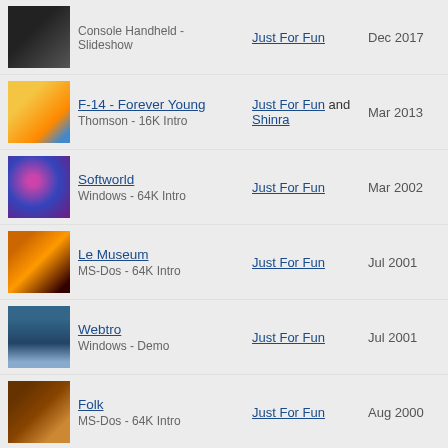Console Handheld - Slideshow | Just For Fun | Dec 2017
F-14 - Forever Young | Thomson - 16K Intro | Just For Fun and Shinra | Mar 2013
Softworld | Windows - 64K Intro | Just For Fun | Mar 2002
Le Museum | MS-Dos - 64K Intro | Just For Fun | Jul 2001
Webtro | Windows - Demo | Just For Fun | Jul 2001
Folk | MS-Dos - 64K Intro | Just For Fun | Aug 2000
GTron | MS-Dos - Game | Just For Fun | Aug 1999
Lombric | Atari ST/E - Game | Just For Fun and Pyjama | Aug 1999
Totem | MS-Dos - Diskmag | Just For Fun | Jul 1999
(partial entry)